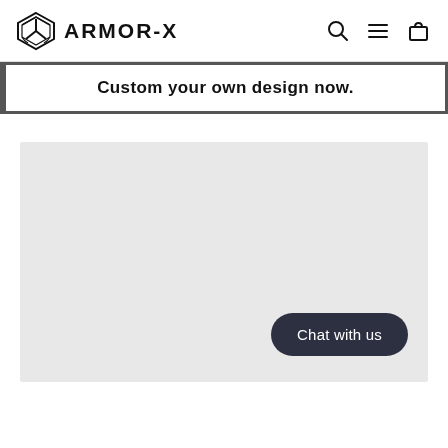ARMOR-X
Custom your own design now.
[Figure (other): Large light gray rectangular content area placeholder]
Chat with us